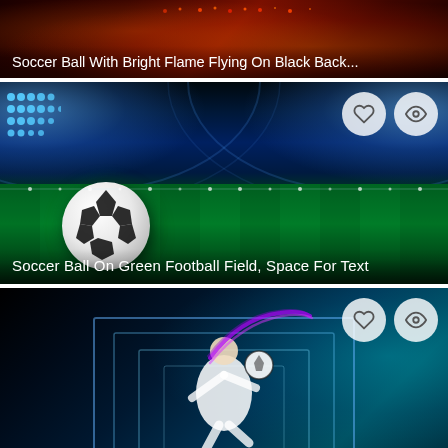[Figure (photo): Stock image thumbnail: Soccer ball with bright flames on dark/black background. Title text overlaid at top.]
Soccer Ball With Bright Flame Flying On Black Back...
[Figure (photo): Stock image: Soccer ball on bright green football field with stadium lights in background. Heart and eye icons at top right. Title text at bottom.]
Soccer Ball On Green Football Field, Space For Text
[Figure (photo): Stock image: Soccer player kicking ball with purple/neon light trails against dark teal/blue background with goal frame. Heart and eye icons at top right.]